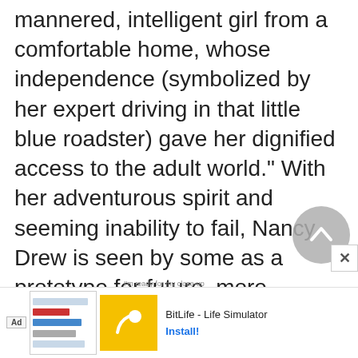mannered, intelligent girl from a comfortable home, whose independence (symbolized by her expert driving in that little blue roadster) gave her dignified access to the adult world." With her adventurous spirit and seeming inability to fail, Nancy Drew is seen by some as a prototype for future, more modern depictions of gender roles in children's literature. So strong is her potential to empower young girls that Carolyn G
[Figure (screenshot): BitLife - Life Simulator advertisement banner with app icon showing a sperm emoji on yellow background, and a screenshot of the app interface]